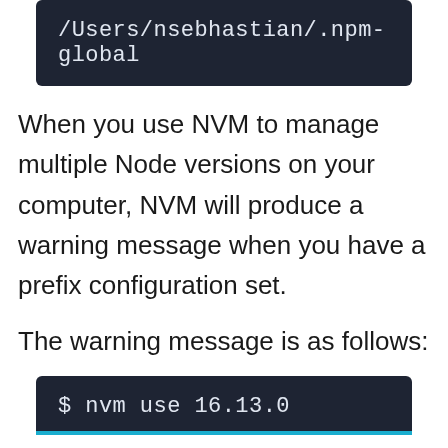[Figure (screenshot): Dark terminal code block showing: /Users/nsebhastian/.npm-global]
When you use NVM to manage multiple Node versions on your computer, NVM will produce a warning message when you have a prefix configuration set.
The warning message is as follows:
[Figure (screenshot): Dark terminal code block showing: $ nvm use 16.13.0 with a teal/cyan bar at the bottom]